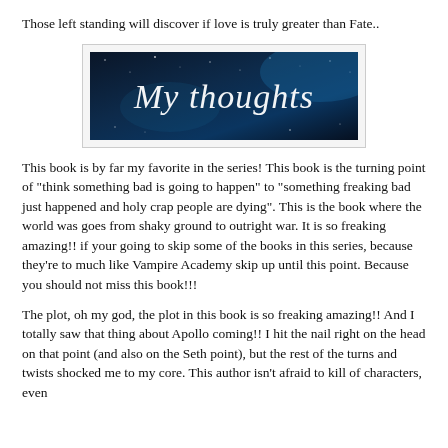Those left standing will discover if love is truly greater than Fate..
[Figure (illustration): A decorative banner image with a dark blue starry background and white cursive text reading 'My thoughts']
This book is by far my favorite in the series! This book is the turning point of "think something bad is going to happen" to "something freaking bad just happened and holy crap people are dying". This is the book where the world was goes from shaky ground to outright war. It is so freaking amazing!! if your going to skip some of the books in this series, because they're to much like Vampire Academy skip up until this point. Because you should not miss this book!!!
The plot, oh my god, the plot in this book is so freaking amazing!! And I totally saw that thing about Apollo coming!! I hit the nail right on the head on that point (and also on the Seth point), but the rest of the turns and twists shocked me to my core. This author isn't afraid to kill of characters, even